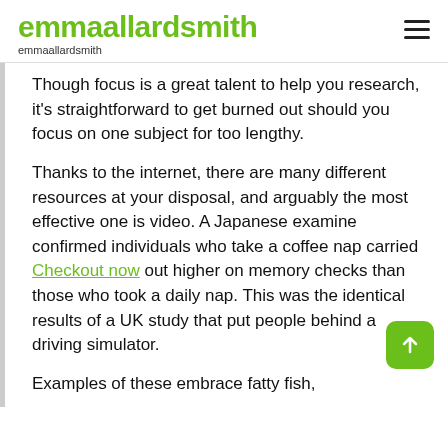emmaallardsmith
emmaallardsmith
Though focus is a great talent to help you research, it's straightforward to get burned out should you focus on one subject for too lengthy.
Thanks to the internet, there are many different resources at your disposal, and arguably the most effective one is video. A Japanese examine confirmed individuals who take a coffee nap carried Checkout now out higher on memory checks than those who took a daily nap. This was the identical results of a UK study that put people behind a driving simulator.
Examples of these embrace fatty fish,